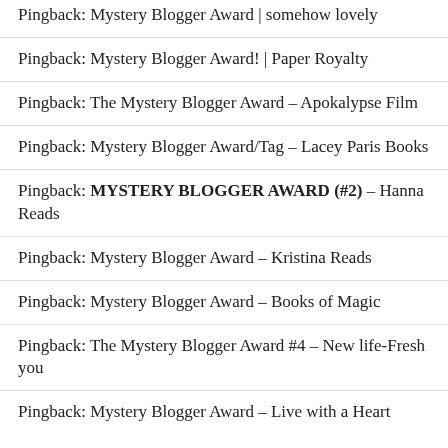Pingback: Mystery Blogger Award | somehow lovely
Pingback: Mystery Blogger Award! | Paper Royalty
Pingback: The Mystery Blogger Award – Apokalypse Film
Pingback: Mystery Blogger Award/Tag – Lacey Paris Books
Pingback: MYSTERY BLOGGER AWARD (#2) – Hanna Reads
Pingback: Mystery Blogger Award – Kristina Reads
Pingback: Mystery Blogger Award – Books of Magic
Pingback: The Mystery Blogger Award #4 – New life-Fresh you
Pingback: Mystery Blogger Award – Live with a Heart